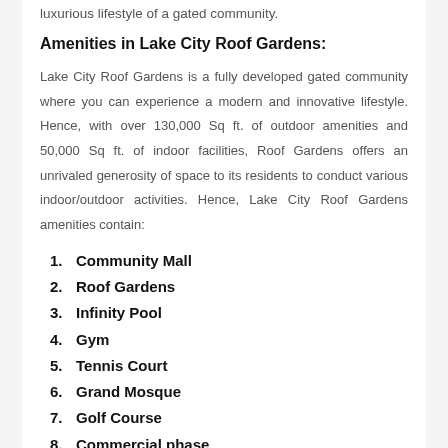luxurious lifestyle of a gated community.
Amenities in Lake City Roof Gardens:
Lake City Roof Gardens is a fully developed gated community where you can experience a modern and innovative lifestyle. Hence, with over 130,000 Sq ft. of outdoor amenities and 50,000 Sq ft. of indoor facilities, Roof Gardens offers an unrivaled generosity of space to its residents to conduct various indoor/outdoor activities. Hence, Lake City Roof Gardens amenities contain:
Community Mall
Roof Gardens
Infinity Pool
Gym
Tennis Court
Grand Mosque
Golf Course
Commercial phase